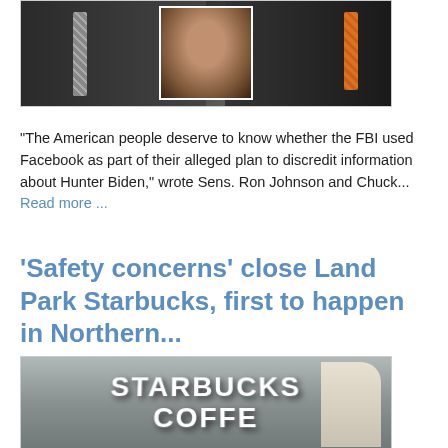[Figure (photo): Two men in suits (one with striped tie, one with orange tie) flanking a smaller inset photo of a man looking intensely at the camera]
“The American people deserve to know whether the FBI used Facebook as part of their alleged plan to discredit information about Hunter Biden,” wrote Sens. Ron Johnson and Chuck... Read more ...
‘Safety concerns’ close Land Park Starbucks, first to happen in Northern...
[Figure (photo): Starbucks Coffee sign on exterior of building]